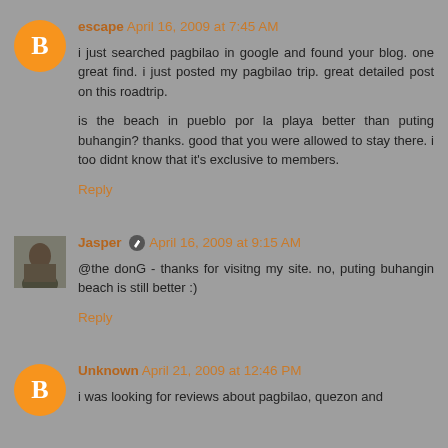escape April 16, 2009 at 7:45 AM
i just searched pagbilao in google and found your blog. one great find. i just posted my pagbilao trip. great detailed post on this roadtrip.

is the beach in pueblo por la playa better than puting buhangin? thanks. good that you were allowed to stay there. i too didnt know that it's exclusive to members.
Reply
Jasper April 16, 2009 at 9:15 AM
@the donG - thanks for visitng my site. no, puting buhangin beach is still better :)
Reply
Unknown April 21, 2009 at 12:46 PM
i was looking for reviews about pagbilao, quezon and